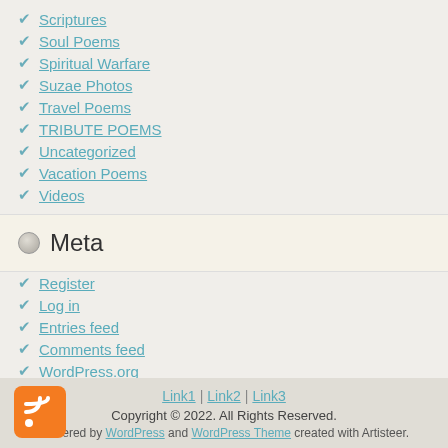Scriptures
Soul Poems
Spiritual Warfare
Suzae Photos
Travel Poems
TRIBUTE POEMS
Uncategorized
Vacation Poems
Videos
Meta
Register
Log in
Entries feed
Comments feed
WordPress.org
Link1 | Link2 | Link3
Copyright © 2022. All Rights Reserved.
Powered by WordPress and WordPress Theme created with Artisteer.